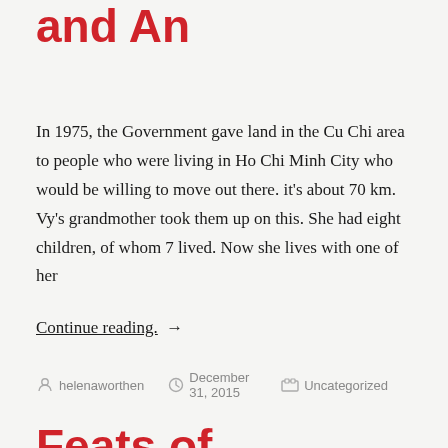and An
In 1975, the Government gave land in the Cu Chi area to people who were living in Ho Chi Minh City who would be willing to move out there. it's about 70 km. Vy's grandmother took them up on this. She had eight children, of whom 7 lived. Now she lives with one of her
Continue reading. →
helenaworthen   December 31, 2015   Uncategorized
Feats of Maintenance
TDTU is kept shiny and new by an army of people who sweep and polish